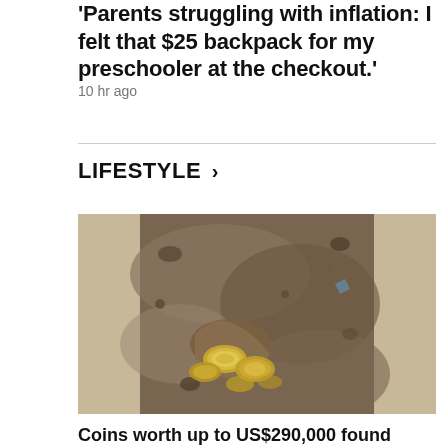'Parents struggling with inflation: I felt that $25 backpack for my preschooler at the checkout.'
10 hr ago
LIFESTYLE >
[Figure (photo): Two-panel composite image: left panel shows gold coins partially buried in sandy/rocky soil; right panel shows a cylindrical bronze/wooden container alongside many gold coins spread on a white surface.]
Coins worth up to US$290,000 found under kitchen floorboards